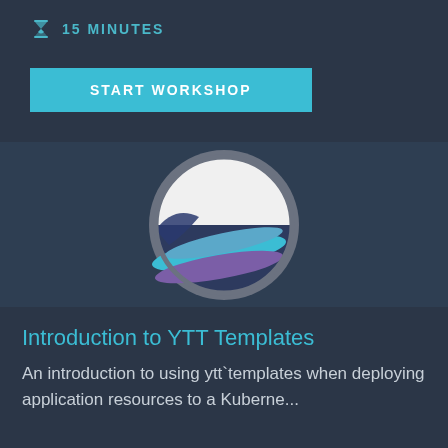15 MINUTES
START WORKSHOP
[Figure (logo): YTT logo — a circular badge with gray border, white upper half and colorful striped lower half in blue, purple, and teal colors suggesting a stylized globe or orb]
Introduction to YTT Templates
An introduction to using ytt`templates when deploying application resources to a Kuberne...